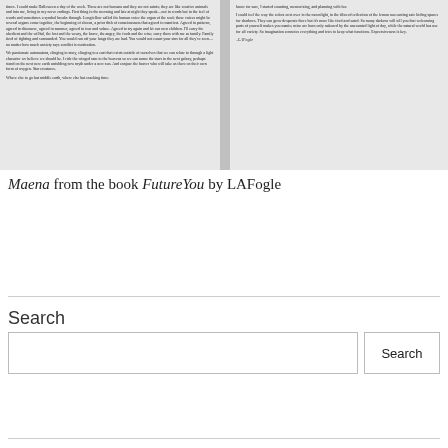[Figure (illustration): Two-column image of a book page spread with small body text on left and right columns separated by a gray vertical bar. Left column contains dense paragraph text. Right column contains paragraph text followed by an attribution line reading '–LAFogle'.]
Maena from the book FutureYou by LAFogle
Search
Search (button)